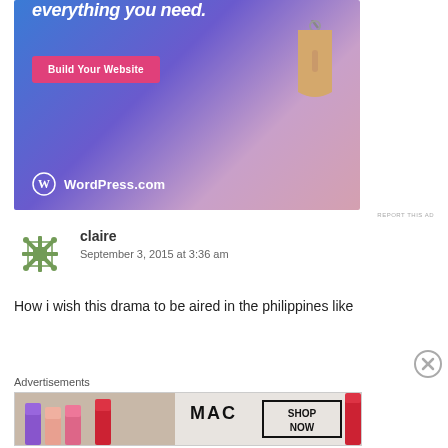[Figure (screenshot): WordPress.com advertisement banner with gradient blue-purple background, text 'everything you need.', pink 'Build Your Website' button, price tag icon, and WordPress.com logo]
REPORT THIS AD
[Figure (illustration): User avatar - green snowflake/quilt pattern icon for commenter 'claire']
claire
September 3, 2015 at 3:36 am
How i wish this drama to be aired in the philippines like
Advertisements
[Figure (screenshot): MAC cosmetics advertisement banner showing colorful lipsticks with 'MAC' logo and 'SHOP NOW' button]